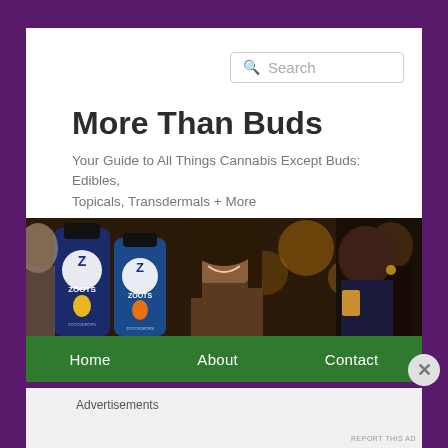Search
More Than Buds
Your Guide to All Things Cannabis Except Buds: Edibles, Topicals, Transdermals + More
[Figure (photo): Hero photo showing two Zoots dropper bottles (blue labeled 'ZOOTS' with 'ZOOTSDROPS' text) in the foreground with a smiling woman and social gathering in the background]
Home    About    Contact
Advertisements
REPORT THIS AD